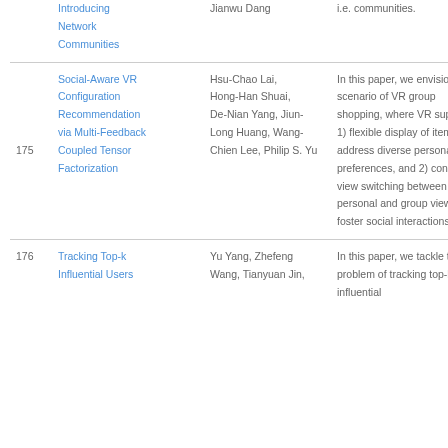| # | Title | Authors | Abstract |
| --- | --- | --- | --- |
|  | Introducing Network Communities | Jianwu Dang | i.e. communities. |
| 175 | Social-Aware VR Configuration Recommendation via Multi-Feedback Coupled Tensor Factorization | Hsu-Chao Lai, Hong-Han Shuai, De-Nian Yang, Jiun-Long Huang, Wang-Chien Lee, Philip S. Yu | In this paper, we envision the scenario of VR group shopping, where VR supports: 1) flexible display of items to address diverse personal preferences, and 2) convenient view switching between personal and group views to foster social interactions. |
| 176 | Tracking Top-k Influential Users | Yu Yang, Zhefeng Wang, Tianyuan Jin, | In this paper, we tackle the problem of tracking top-k influential |